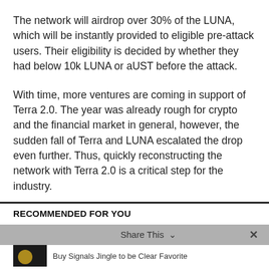The network will airdrop over 30% of the LUNA, which will be instantly provided to eligible pre-attack users. Their eligibility is decided by whether they had below 10k LUNA or aUST before the attack.
With time, more ventures are coming in support of Terra 2.0. The year was already rough for crypto and the financial market in general, however, the sudden fall of Terra and LUNA escalated the drop even further. Thus, quickly reconstructing the network with Terra 2.0 is a critical step for the industry.
RELATED ITEMS: CRYPTOCURRENCY NEWS
RECOMMENDED FOR YOU
Share This
Buy Signals Jingle to be Clear Favorite